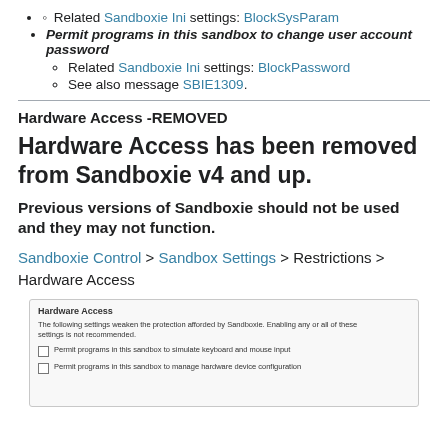Related Sandboxie Ini settings: BlockSysParam
Permit programs in this sandbox to change user account password
  Related Sandboxie Ini settings: BlockPassword
  See also message SBIE1309.
Hardware Access -REMOVED
Hardware Access has been removed from Sandboxie v4 and up.
Previous versions of Sandboxie should not be used and they may not function.
Sandboxie Control > Sandbox Settings > Restrictions > Hardware Access
[Figure (screenshot): Screenshot of the Hardware Access settings panel in Sandboxie, showing two unchecked checkboxes: 'Permit programs in this sandbox to simulate keyboard and mouse input' and 'Permit programs in this sandbox to manage hardware device configuration'. A warning note says the following settings weaken the protection afforded by Sandboxie and enabling any or all of these settings is not recommended.]